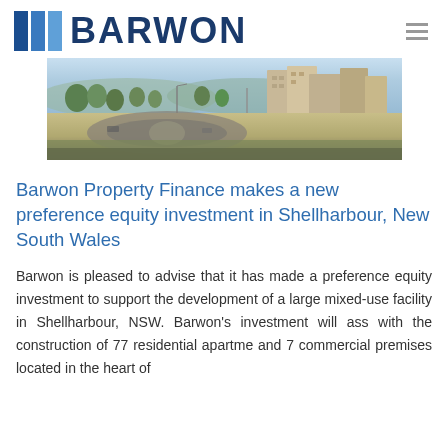BARWON
[Figure (photo): Aerial/street view photograph of a mixed-use residential and commercial development in Shellharbour, NSW, showing apartment buildings, trees, and a roundabout.]
Barwon Property Finance makes a new preference equity investment in Shellharbour, New South Wales
Barwon is pleased to advise that it has made a preference equity investment to support the development of a large mixed-use facility in Shellharbour, NSW. Barwon's investment will ass with the construction of 77 residential apartme and 7 commercial premises located in the heart of